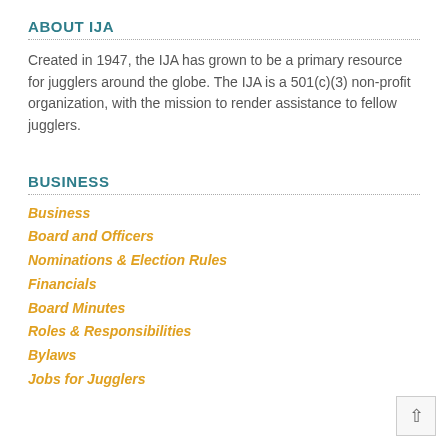ABOUT IJA
Created in 1947, the IJA has grown to be a primary resource for jugglers around the globe. The IJA is a 501(c)(3) non-profit organization, with the mission to render assistance to fellow jugglers.
BUSINESS
Business
Board and Officers
Nominations & Election Rules
Financials
Board Minutes
Roles & Responsibilities
Bylaws
Jobs for Jugglers